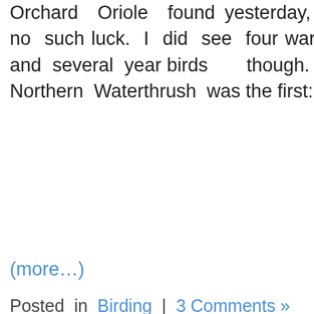Orchard Oriole found yesterday, but no such luck. I did see four warblers and several year birds though. This Northern Waterthrush was the first:
(more…)
Posted in Birding | 3 Comments »
Spring Comes (and Goes) in
August 2013
June 2013
May 2013
March 2013
February 2013
January 2013
December 2012
November 2012
October 2012
September 2012
August 2012
July 2012
June 2012
May 2012
April 2012
March 2012
February 2012
January 2012
December 2011
November 2011